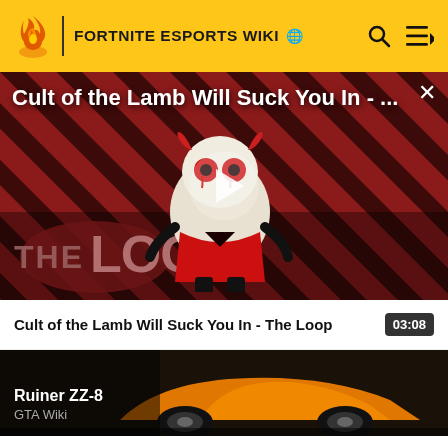FORTNITE ESPORTS WIKI
[Figure (screenshot): Video thumbnail for 'Cult of the Lamb Will Suck You In - The Loop' showing animated lamb character on striped red and dark background with 'THE LOOP' text overlay and a play button]
Cult of the Lamb Will Suck You In - The Loop
03:08
[Figure (screenshot): Thumbnail of orange/yellow sports car (Ruiner ZZ-8) from GTA Wiki]
Ruiner ZZ-8
GTA Wiki